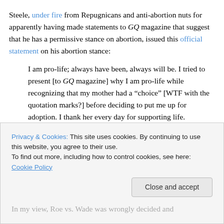Steele, under fire from Repugnicans and anti-abortion nuts for apparently having made statements to GQ magazine that suggest that he has a permissive stance on abortion, issued this official statement on his abortion stance:
I am pro-life; always have been, always will be. I tried to present [to GQ magazine] why I am pro-life while recognizing that my mother had a “choice” [WTF with the quotation marks?] before deciding to put me up for adoption. I thank her every day for supporting life.
Privacy & Cookies: This site uses cookies. By continuing to use this website, you agree to their use. To find out more, including how to control cookies, see here: Cookie Policy
In my view, Roe vs. Wade was wrongly decided and